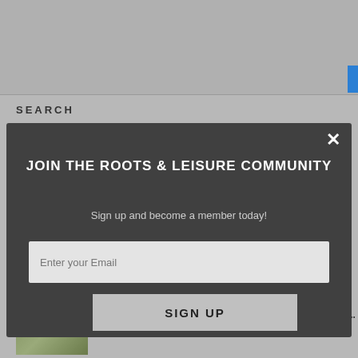SEARCH
Type to search...
[Figure (screenshot): Modal popup for joining Roots & Leisure Community newsletter with email signup form]
JOIN THE ROOTS & LEISURE COMMUNITY
Sign up and become a member today!
Enter your Email
SIGN UP
RECENT POSTS
July 24, 2022
The Return of the Cosplayers from Nagaland | NAJ Cosfest...
March 1, 2022
“Fashion is about Expressing Myself Without Inhibition...